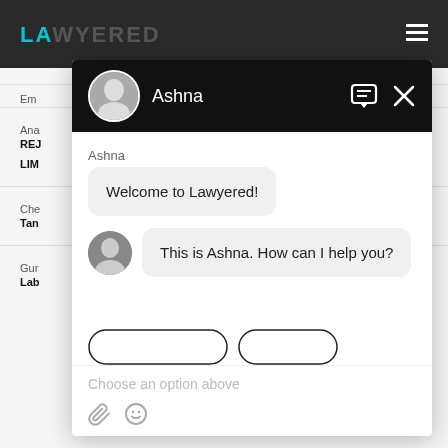[Figure (screenshot): Lawyered website background with dark top navigation bar showing the Lawyered logo in teal and a hamburger menu icon on the right.]
[Figure (screenshot): Chat widget overlay showing agent named Ashna. Header is black with avatar photo, name, chat icon and X close button. Body shows 'Ashna' label, a welcome message bubble 'Welcome to Lawyered!', then a second message with avatar and bubble 'This is Ashna. How can I help you?'. Below are two curved button outlines and an input area with placeholder 'Choose an option above' and paperclip/emoji icons.]